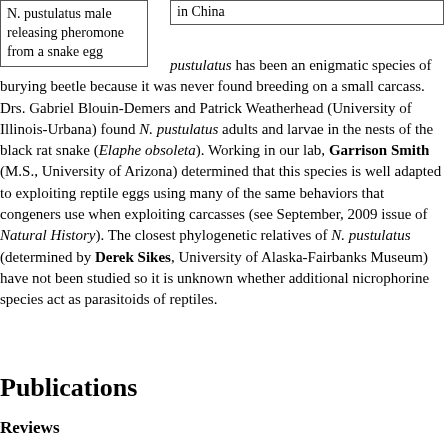N. pustulatus male releasing pheromone from a snake egg
in China
pustulatus has been an enigmatic species of burying beetle because it was never found breeding on a small carcass. Drs. Gabriel Blouin-Demers and Patrick Weatherhead (University of Illinois-Urbana) found N. pustulatus adults and larvae in the nests of the black rat snake (Elaphe obsoleta). Working in our lab, Garrison Smith (M.S., University of Arizona) determined that this species is well adapted to exploiting reptile eggs using many of the same behaviors that congeners use when exploiting carcasses (see September, 2009 issue of Natural History). The closest phylogenetic relatives of N. pustulatus (determined by Derek Sikes, University of Alaska-Fairbanks Museum) have not been studied so it is unknown whether additional nicrophorine species act as parasitoids of reptiles.
Publications
Reviews